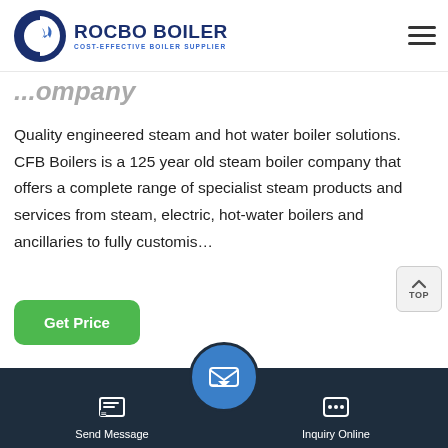[Figure (logo): Rocbo Boiler logo with circular icon and text 'COST-EFFECTIVE BOILER SUPPLIER']
...ompany
Quality engineered steam and hot water boiler solutions. CFB Boilers is a 125 year old steam boiler company that offers a complete range of specialist steam products and services from steam, electric, hot-water boilers and ancillaries to fully customis…
[Figure (photo): Industrial boiler facility with large pipes and crane in background]
Send Message | Inquiry Online